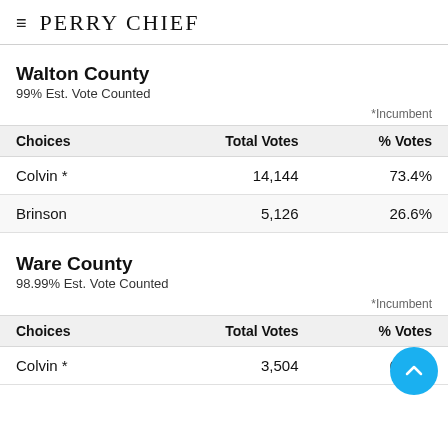PERRY CHIEF
Walton County
99% Est. Vote Counted
*Incumbent
| Choices | Total Votes | % Votes |
| --- | --- | --- |
| Colvin * | 14,144 | 73.4% |
| Brinson | 5,126 | 26.6% |
Ware County
98.99% Est. Vote Counted
*Incumbent
| Choices | Total Votes | % Votes |
| --- | --- | --- |
| Colvin * | 3,504 | 68.6% |